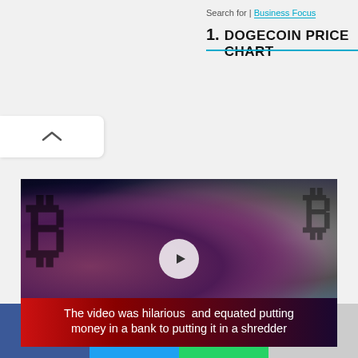Search for | Business Focus
1.   DOGECOIN PRICE CHART
[Figure (photo): Cryptocurrency coins (Bitcoin and others) with a video play button overlay and caption reading: The video was hilarious and equated putting money in a bank to putting it in a shredder]
The video was hilarious and equated putting money in a bank to putting it in a shredder
Social share buttons: Facebook, Twitter, WhatsApp, More